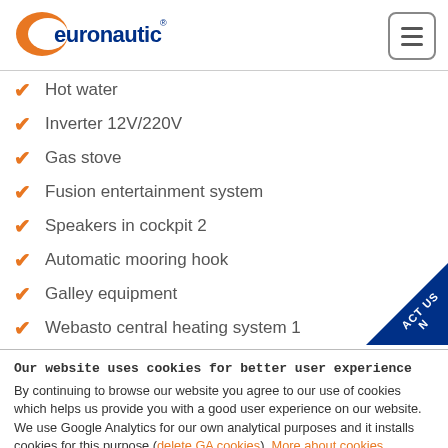[Figure (logo): Euronautic logo with orange swoosh and blue text, registered trademark symbol]
Hot water
Inverter 12V/220V
Gas stove
Fusion entertainment system
Speakers in cockpit 2
Automatic mooring hook
Galley equipment
Webasto central heating system 1
Our website uses cookies for better user experience By continuing to browse our website you agree to our use of cookies which helps us provide you with a good user experience on our website. We use Google Analytics for our own analytical purposes and it installs cookies for this purpose (delete GA cookies). More about cookies.